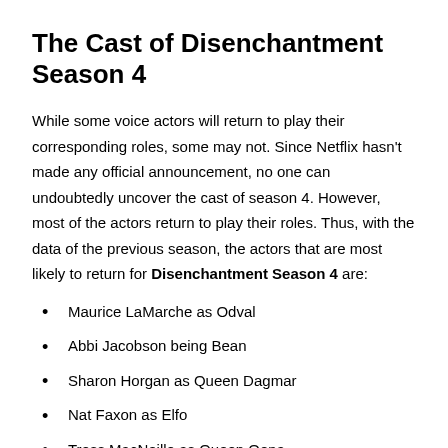The Cast of Disenchantment Season 4
While some voice actors will return to play their corresponding roles, some may not. Since Netflix hasn't made any official announcement, no one can undoubtedly uncover the cast of season 4. However, most of the actors return to play their roles. Thus, with the data of the previous season, the actors that are most likely to return for Disenchantment Season 4 are:
Maurice LaMarche as Odval
Abbi Jacobson being Bean
Sharon Horgan as Queen Dagmar
Nat Faxon as Elfo
Tress MacNeille as Queen Oona